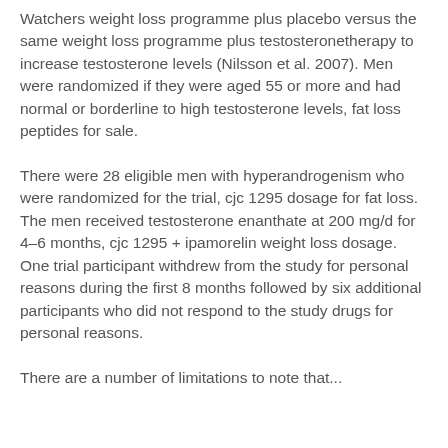Watchers weight loss programme plus placebo versus the same weight loss programme plus testosteronetherapy to increase testosterone levels (Nilsson et al. 2007). Men were randomized if they were aged 55 or more and had normal or borderline to high testosterone levels, fat loss peptides for sale.
There were 28 eligible men with hyperandrogenism who were randomized for the trial, cjc 1295 dosage for fat loss. The men received testosterone enanthate at 200 mg/d for 4–6 months, cjc 1295 + ipamorelin weight loss dosage. One trial participant withdrew from the study for personal reasons during the first 8 months followed by six additional participants who did not respond to the study drugs for personal reasons.
There are a number of limitations to note that...